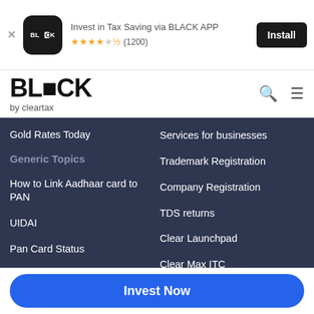[Figure (screenshot): Ad banner for BLACK app by ClearTax with install button, logo, star rating 4.5 (1200)]
[Figure (logo): BLACK by ClearTax logo with search and menu icons]
Gold Rates Today
Generic Topics
How to Link Aadhaar card to PAN
UIDAI
Pan Card Status
Aadhar card
EPFO
Services for businesses
Trademark Registration
Company Registration
TDS returns
Clear Launchpad
Clear Max ITC
Invest Now